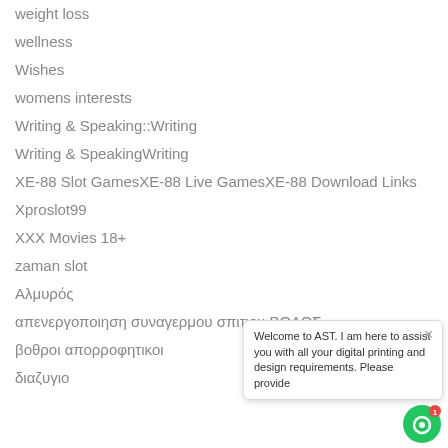weight loss
wellness
Wishes
womens interests
Writing & Speaking::Writing
Writing & SpeakingWriting
XE-88 Slot GamesXE-88 Live GamesXE-88 Download Links
Xproslot99
XXX Movies 18+
zaman slot
Αλμυρός
απενεργοποιηση συναγερμου σπιτιου ΒΟΛΟΣ
βοθροι απορροφητικοι
διαζυγιο
Welcome to AST. I am here to assist you with all your digital printing and design requirements. Please provide